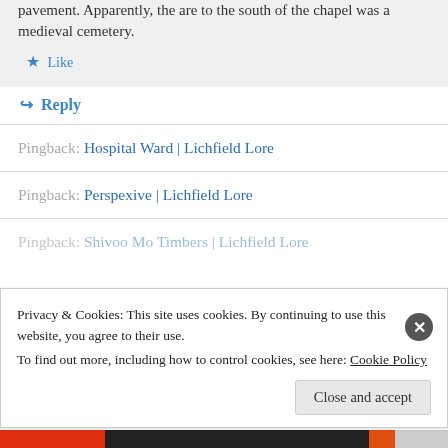pavement. Apparently, the are to the south of the chapel was a medieval cemetery.
★ Like
↪ Reply
Pingback: Hospital Ward | Lichfield Lore
Pingback: Perspexive | Lichfield Lore
Pingback: Shivoo Mo Timbers | Lichfield Lore
Privacy & Cookies: This site uses cookies. By continuing to use this website, you agree to their use.
To find out more, including how to control cookies, see here: Cookie Policy
Close and accept